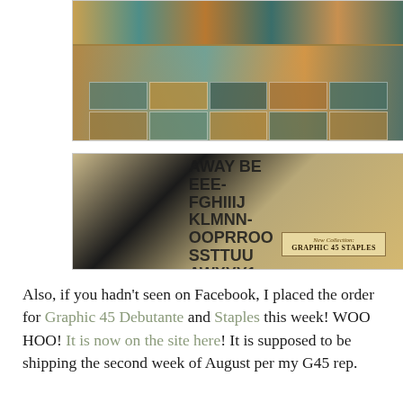[Figure (photo): Product image of Graphic 45 Debutante scrapbook paper collection pad showing vintage-style patterned papers in teal, gold, and brown tones arranged in a grid on cream packaging]
[Figure (photo): Product image of Graphic 45 Staples collection showing vintage ephemera, alphabet stickers, buttons, ribbons, and dark navy notebook on a cream background with label reading 'New Collection: Graphic 45 Staples']
Also, if you hadn't seen on Facebook, I placed the order for Graphic 45 Debutante and Staples this week! WOO HOO! It is now on the site here! It is supposed to be shipping the second week of August per my G45 rep.